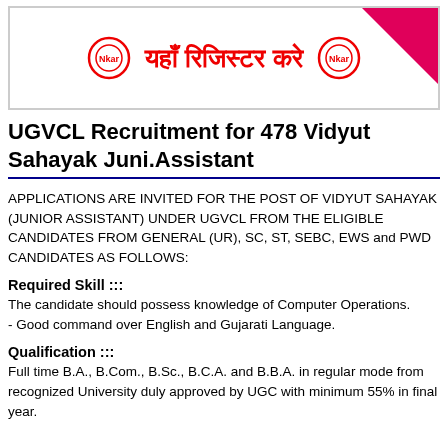[Figure (illustration): Banner with Hindi text 'यहाँ रिजिस्टर करे' in red with two circular logo icons on either side and a pink/red triangle in the top-right corner, inside a bordered box.]
UGVCL Recruitment for 478 Vidyut Sahayak Juni.Assistant
APPLICATIONS ARE INVITED FOR THE POST OF VIDYUT SAHAYAK (JUNIOR ASSISTANT) UNDER UGVCL FROM THE ELIGIBLE CANDIDATES FROM GENERAL (UR), SC, ST, SEBC, EWS and PWD CANDIDATES AS FOLLOWS:
Required Skill :::
The candidate should possess knowledge of Computer Operations.
- Good command over English and Gujarati Language.
Qualification :::
Full time B.A., B.Com., B.Sc., B.C.A. and B.B.A. in regular mode from recognized University duly approved by UGC with minimum 55% in final year.